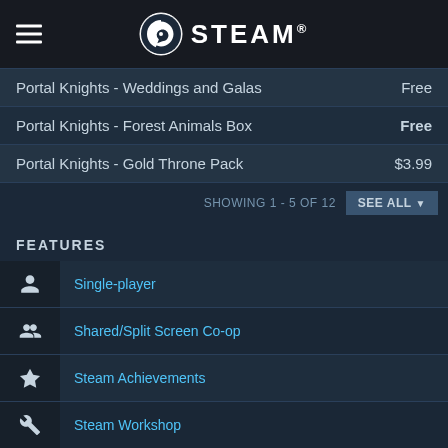STEAM
Portal Knights - Weddings and Galas | Free
Portal Knights - Forest Animals Box | Free
Portal Knights - Gold Throne Pack | $3.99
SHOWING 1 - 5 OF 12  SEE ALL
FEATURES
Single-player
Shared/Split Screen Co-op
Steam Achievements
Steam Workshop
Partial Controller Support
Steam Cloud
Remote Play on Tablet